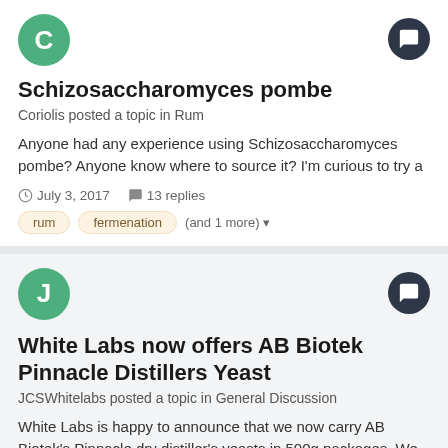[Figure (illustration): Green circle avatar with letter C]
Schizosaccharomyces pombe
Coriolis posted a topic in Rum
Anyone had any experience using Schizosaccharomyces pombe? Anyone know where to source it? I'm curious to try a
July 3, 2017   13 replies
rum
fermenation
(and 1 more)
[Figure (illustration): Green circle avatar with letter J]
White Labs now offers AB Biotek Pinnacle Distillers Yeast
JCSWhitelabs posted a topic in General Discussion
White Labs is happy to announce that we now carry AB Biotek's Pinnacle dry distiller's yeasts in 500g packages. We offer two
January 22, 2018